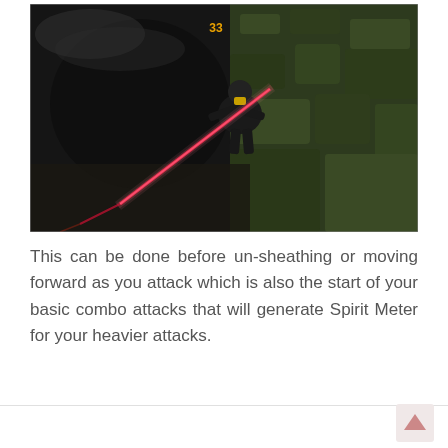[Figure (screenshot): Screenshot from a video game showing a character performing an attack with a glowing red/pink energy beam or sword slash. The character appears to be wearing dark armor. The environment is dark with rocky/mossy terrain. A damage number '33' is displayed above the character.]
This can be done before un-sheathing or moving forward as you attack which is also the start of your basic combo attacks that will generate Spirit Meter for your heavier attacks.